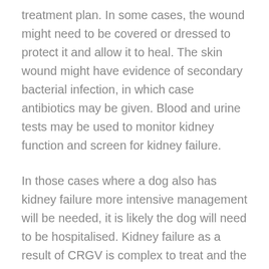treatment plan. In some cases, the wound might need to be covered or dressed to protect it and allow it to heal. The skin wound might have evidence of secondary bacterial infection, in which case antibiotics may be given. Blood and urine tests may be used to monitor kidney function and screen for kidney failure.
In those cases where a dog also has kidney failure more intensive management will be needed, it is likely the dog will need to be hospitalised. Kidney failure as a result of CRGV is complex to treat and the prognosis is guarded, therefore the vet may suggest the dog is referred to a specialist where treatments such as plasma exchange or dialysis may be available.